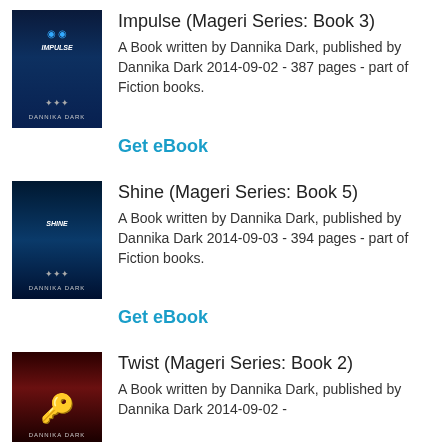Impulse (Mageri Series: Book 3)
A Book written by Dannika Dark, published by Dannika Dark 2014-09-02 - 387 pages - part of Fiction books.
Get eBook
Shine (Mageri Series: Book 5)
A Book written by Dannika Dark, published by Dannika Dark 2014-09-03 - 394 pages - part of Fiction books.
Get eBook
Twist (Mageri Series: Book 2)
A Book written by Dannika Dark, published by Dannika Dark 2014-09-02 -